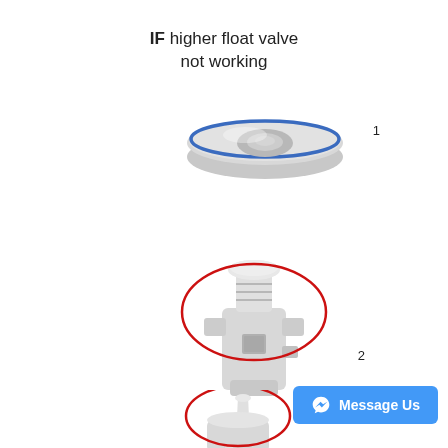IF higher float valve not working
[Figure (illustration): Exploded diagram of a float valve assembly showing three numbered parts: (1) a flat oval disc/cap with blue edge at top, (2) the main valve body cylinder with threaded top and a red oval circle highlighting the top portion, (3) the needle/plunger piece at the bottom with a red oval circle highlighting the tip area. Each part is numbered 1, 2, and 3 respectively.]
Message Us